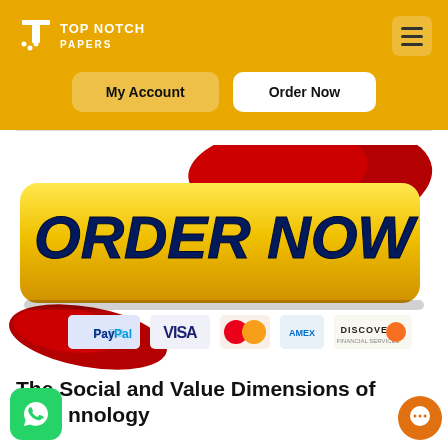[Figure (logo): Top Notch Papers logo with white T icon and text]
My Account
Order Now
[Figure (illustration): ORDER NOW yellow button with red splash background and payment icons (PayPal, VISA, Mastercard, Amex, Discover)]
The Social and Value Dimensions of Technology